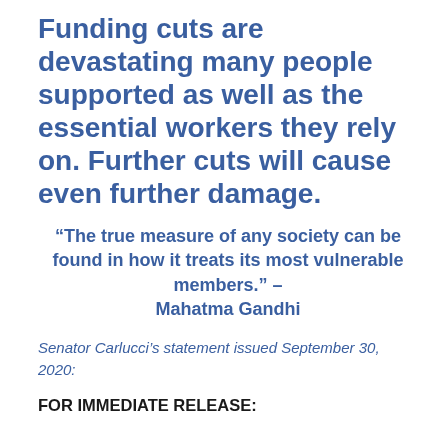Funding cuts are devastating many people supported as well as the essential workers they rely on. Further cuts will cause even further damage.
“The true measure of any society can be found in how it treats its most vulnerable members.” – Mahatma Gandhi
Senator Carlucci’s statement issued September 30, 2020:
FOR IMMEDIATE RELEASE: